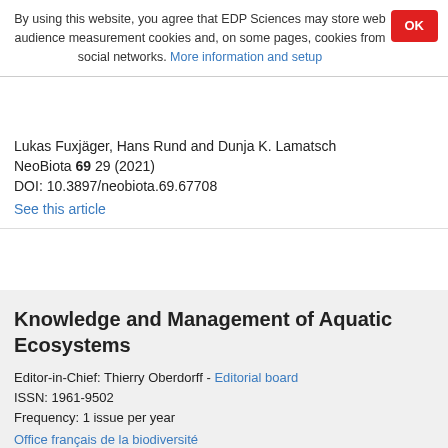By using this website, you agree that EDP Sciences may store web audience measurement cookies and, on some pages, cookies from social networks. More information and setup
Lukas Fuxjäger, Hans Rund and Dunja K. Lamatsch
NeoBiota 69 29 (2021)
DOI: 10.3897/neobiota.69.67708
See this article
Knowledge and Management of Aquatic Ecosystems
Editor-in-Chief: Thierry Oberdorff - Editorial board
ISSN: 1961-9502
Frequency: 1 issue per year
Office français de la biodiversité